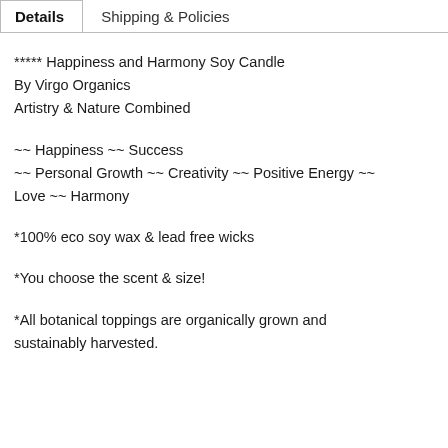Details | Shipping & Policies
***** Happiness and Harmony Soy Candle
By Virgo Organics
Artistry & Nature Combined
~~ Happiness ~~ Success
~~ Personal Growth ~~ Creativity ~~ Positive Energy ~~
Love ~~ Harmony
*100% eco soy wax & lead free wicks
*You choose the scent & size!
*All botanical toppings are organically grown and sustainably harvested.